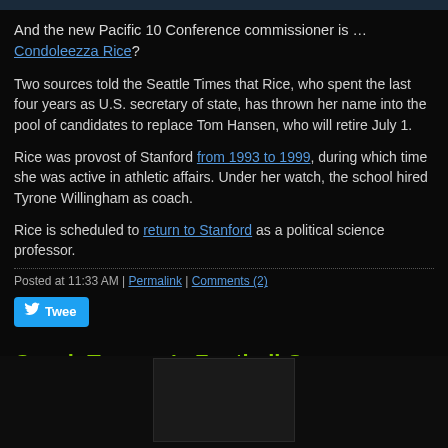[Figure (photo): Dark photo strip at top of page showing partial figures]
And the new Pacific 10 Conference commissioner is … Condoleezza Rice?
Two sources told the Seattle Times that Rice, who spent the last four years as U.S. secretary of state, has thrown her name into the pool of candidates to replace Tom Hansen, who will retire July 1.
Rice was provost of Stanford from 1993 to 1999, during which time she was active in athletic affairs. Under her watch, the school hired Tyrone Willingham as coach.
Rice is scheduled to return to Stanford as a political science professor.
Posted at 11:33 AM | Permalink | Comments (2)
Coach Tyranny's Football Camp
[Figure (photo): Partial image visible at bottom of page]